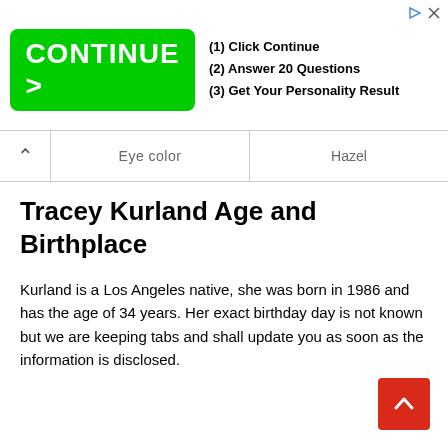[Figure (other): Advertisement banner with green 'CONTINUE >' button and text: (1) Click Continue, (2) Answer 20 Questions, (3) Get Your Personality Result]
| Eye Color | Hazel |
| --- | --- |
Tracey Kurland Age and Birthplace
Kurland is a Los Angeles native, she was born in 1986 and has the age of 34 years. Her exact birthday day is not known but we are keeping tabs and shall update you as soon as the information is disclosed.